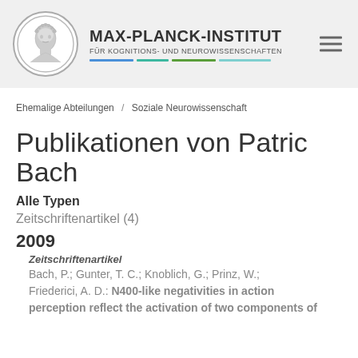[Figure (logo): Max-Planck-Institut für Kognitions- und Neurowissenschaften logo with circular emblem and institute name]
Ehemalige Abteilungen / Soziale Neurowissenschaft
Publikationen von Patric Bach
Alle Typen
Zeitschriftenartikel (4)
2009
Zeitschriftenartikel
Bach, P.; Gunter, T. C.; Knoblich, G.; Prinz, W.; Friederici, A. D.: N400-like negativities in action perception reflect the activation of two components of